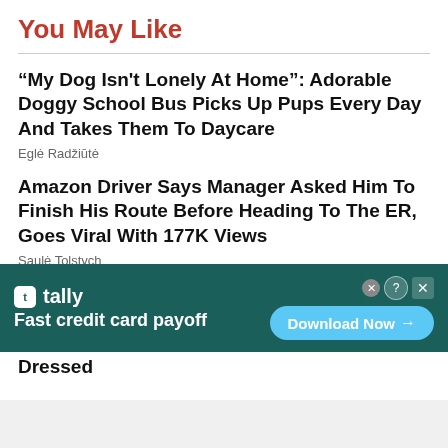You May Like
“My Dog Isn't Lonely At Home”: Adorable Doggy School Bus Picks Up Pups Every Day And Takes Them To Daycare
Eglė Radžiūtė
Amazon Driver Says Manager Asked Him To Finish His Route Before Heading To The ER, Goes Viral With 177K Views
Saulė Tolstych
Woman Goes Viral With 7.7M Views When She Shares That Her Date Called Her An Uber To Go Home After He Saw How She Was Dressed
[Figure (infographic): Tally app advertisement banner with dark teal background. Shows Tally logo with tagline 'Fast credit card payoff' and a 'Download Now' button in light blue.]